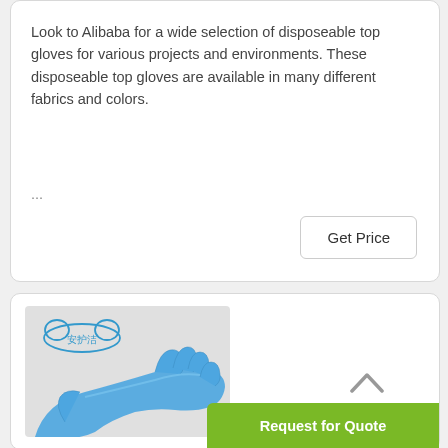Look to Alibaba for a wide selection of disposeable top gloves for various projects and environments. These disposeable top gloves are available in many different fabrics and colors.
...
Get Price
[Figure (photo): Product card showing blue disposable gloves with Chinese brand logo (安护洁) at top left. A hand wearing a blue nitrile/vinyl glove is shown.]
Request for Quote